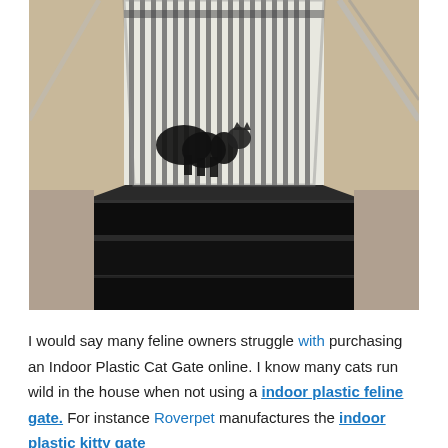[Figure (photo): Photo of a cat gate (indoor plastic cat gate) at the top of stairs, viewed from below. The gate has vertical bars/slats (white/light colored) across a staircase opening. A dark cat silhouette is visible behind the bars. The lower portion shows dark stair steps.]
I would say many feline owners struggle with purchasing an Indoor Plastic Cat Gate online. I know many cats run wild in the house when not using a indoor plastic feline gate. For instance Roverpet manufactures the indoor plastic kitty gate